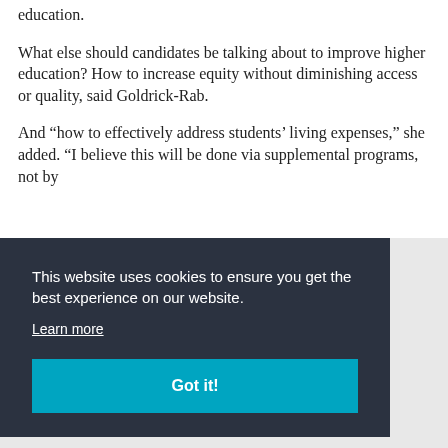education.
What else should candidates be talking about to improve higher education? How to increase equity without diminishing access or quality, said Goldrick-Rab.
And “how to effectively address students’ living expenses,” she added. “I believe this will be done via supplemental programs, not by
This website uses cookies to ensure you get the best experience on our website.
Learn more
Got it!